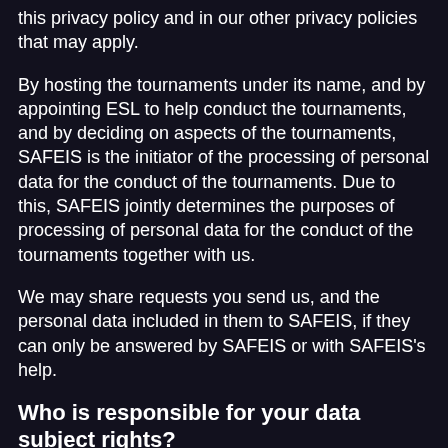this privacy policy and in our other privacy policies that may apply.
By hosting the tournaments under its name, and by appointing ESL to help conduct the tournaments, and by deciding on aspects of the tournaments, SAFEIS is the initiator of the processing of personal data for the conduct of the tournaments. Due to this, SAFEIS jointly determines the purposes of processing of personal data for the conduct of the tournaments together with us.
We may share requests you send us, and the personal data included in them to SAFEIS, if they can only be answered by SAFEIS or with SAFEIS's help.
Who is responsible for your data subject rights?